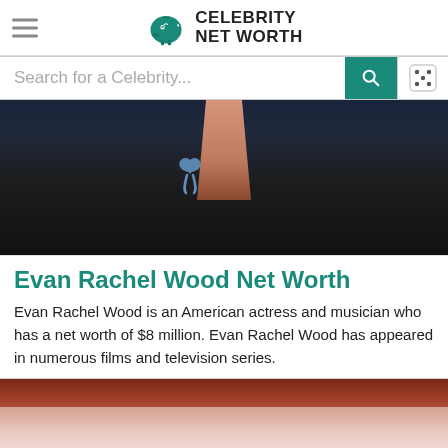Celebrity Net Worth
Search for a Celebrity...
[Figure (photo): Photo of Evan Rachel Wood wearing a black jacket with a blue ribbon brooch, dark background]
Evan Rachel Wood Net Worth
Evan Rachel Wood is an American actress and musician who has a net worth of $8 million. Evan Rachel Wood has appeared in numerous films and television series.
[Figure (photo): Partial photo of a person, reddish-brown hair visible at top, face partially visible at bottom, pinkish-white background]